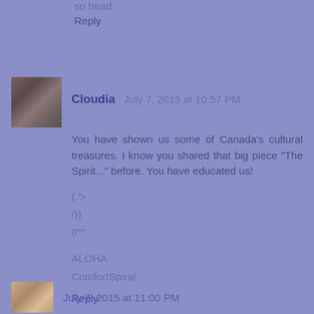so head
Reply
Cloudia July 7, 2015 at 10:57 PM
You have shown us some of Canada's cultural treasures. I know you shared that big piece "The Spirit..." before. You have educated us!
( '>
/))
//""
ALOHA
ComfortSpiral
Reply
July 7, 2015 at 11:00 PM